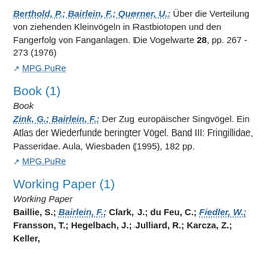Berthold, P.; Bairlein, F.; Querner, U.: Über die Verteilung von ziehenden Kleinvögeln in Rastbiotopen und den Fangerfolg von Fanganlagen. Die Vogelwarte 28, pp. 267 - 273 (1976)
MPG.PuRe
Book (1)
Book
Zink, G.; Bairlein, F.: Der Zug europäischer Singvögel. Ein Atlas der Wiederfunde beringter Vögel. Band III: Fringillidae, Passeridae. Aula, Wiesbaden (1995), 182 pp.
MPG.PuRe
Working Paper (1)
Working Paper
Baillie, S.; Bairlein, F.; Clark, J.; du Feu, C.; Fiedler, W.; Fransson, T.; Hegelbach, J.; Julliard, R.; Karcza, Z.; Keller,